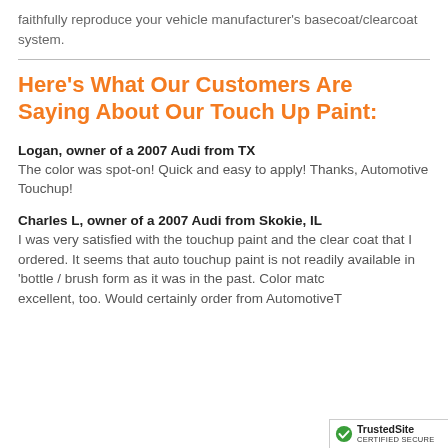faithfully reproduce your vehicle manufacturer's basecoat/clearcoat system.
Here's What Our Customers Are Saying About Our Touch Up Paint:
Logan, owner of a 2007 Audi from TX
The color was spot-on! Quick and easy to apply! Thanks, Automotive Touchup!
Charles L, owner of a 2007 Audi from Skokie, IL
I was very satisfied with the touchup paint and the clear coat that I ordered. It seems that auto touchup paint is not readily available in 'bottle / brush form as it was in the past. Color match was excellent, too. Would certainly order from AutomotiveT
[Figure (logo): TrustedSite CERTIFIED SECURE badge with green checkmark]